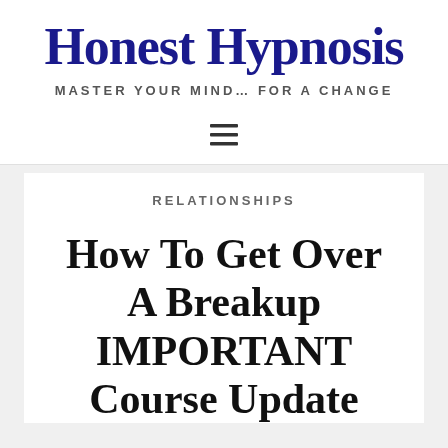Honest Hypnosis
MASTER YOUR MIND... FOR A CHANGE
[Figure (other): Hamburger navigation menu icon (three horizontal lines)]
RELATIONSHIPS
How To Get Over A Breakup IMPORTANT Course Update